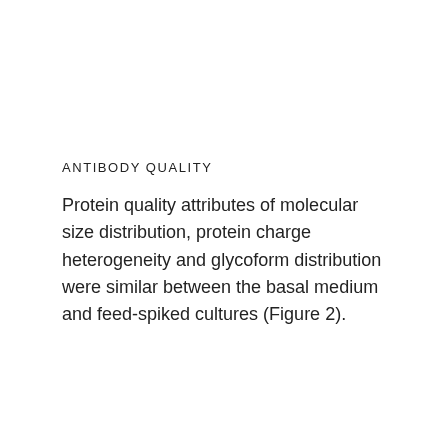ANTIBODY QUALITY
Protein quality attributes of molecular size distribution, protein charge heterogeneity and glycoform distribution were similar between the basal medium and feed-spiked cultures (Figure 2).